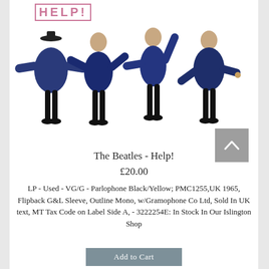[Figure (photo): Album cover of The Beatles - Help! showing four band members in dark coats with arms raised in semaphore poses against a white background, with 'HELP!' text in pink/red outlined letters at the top left]
The Beatles - Help!
£20.00
LP - Used - VG/G - Parlophone Black/Yellow; PMC1255,UK 1965, Flipback G&L Sleeve, Outline Mono, w/Gramophone Co Ltd, Sold In UK text, MT Tax Code on Label Side A, - 3222254E: In Stock In Our Islington Shop
Add to Cart